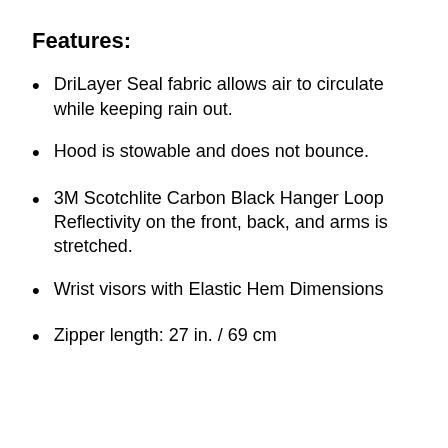Features:
DriLayer Seal fabric allows air to circulate while keeping rain out.
Hood is stowable and does not bounce.
3M Scotchlite Carbon Black Hanger Loop Reflectivity on the front, back, and arms is stretched.
Wrist visors with Elastic Hem Dimensions
Zipper length: 27 in. / 69 cm